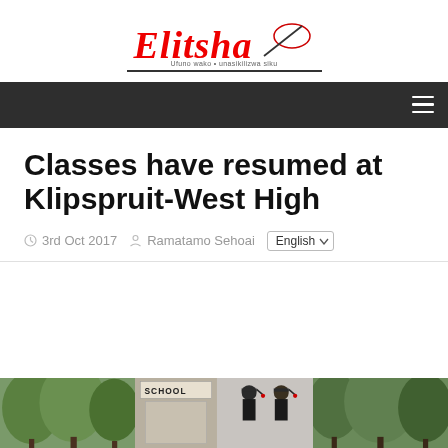Elitsha
Classes have resumed at Klipspruit-West High
3rd Oct 2017  Ramatamo Sehoai  English
[Figure (photo): Three-panel image strip at the bottom: trees on the left, a school sign in the middle with graduates in caps and gowns, and trees on the right.]